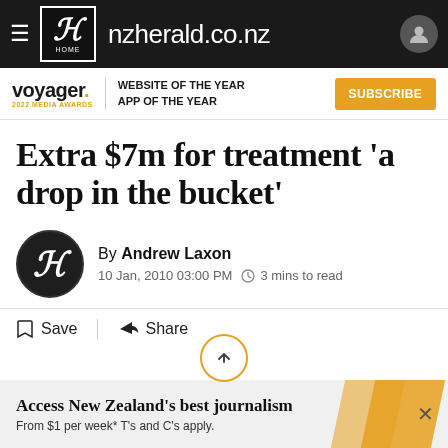nzherald.co.nz
[Figure (logo): Voyager 2022 Media Awards logo with text: WEBSITE OF THE YEAR APP OF THE YEAR and SUBSCRIBE button]
Extra $7m for treatment 'a drop in the bucket'
By Andrew Laxon
10 Jan, 2010 03:00 PM  3 mins to read
Save  Share
[Figure (infographic): Bottom subscription banner: Access New Zealand's best journalism. From $1 per week* T's and C's apply.]